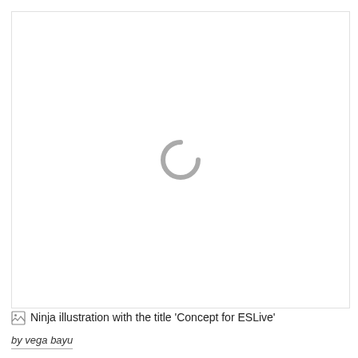[Figure (illustration): Image loading area with a gray spinner/loading indicator in the center on a white background. The image failed to load.]
Ninja illustration with the title 'Concept for ESLive'
by vega bayu